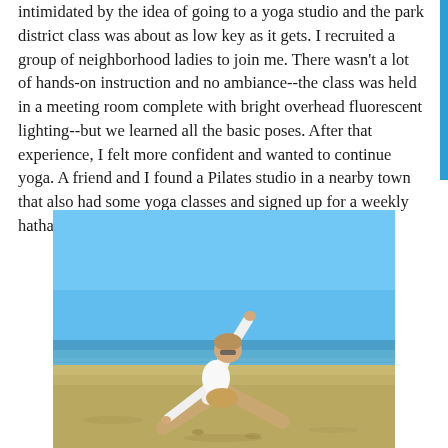intimidated by the idea of going to a yoga studio and the park district class was about as low key as it gets. I recruited a group of neighborhood ladies to join me. There wasn't a lot of hands-on instruction and no ambiance--the class was held in a meeting room complete with bright overhead fluorescent lighting--but we learned all the basic poses. After that experience, I felt more confident and wanted to continue yoga. A friend and I found a Pilates studio in a nearby town that also had some yoga classes and signed up for a weekly hatha yoga class.
[Figure (photo): A woman performing a triangle yoga pose on a beach. She is standing with legs wide apart, one arm reaching toward the sand and the other arm raised straight up toward a clear blue sky. She is wearing a white t-shirt and brown/tan shorts. The background shows a bright blue sky and ocean shoreline.]